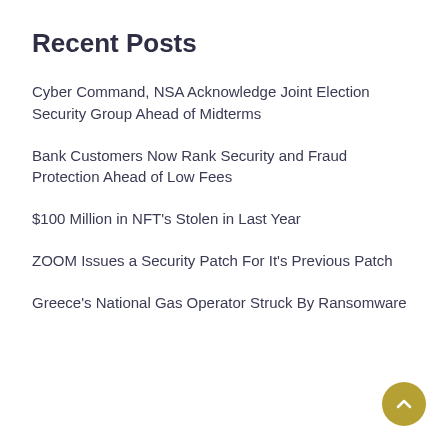Recent Posts
Cyber Command, NSA Acknowledge Joint Election Security Group Ahead of Midterms
Bank Customers Now Rank Security and Fraud Protection Ahead of Low Fees
$100 Million in NFT's Stolen in Last Year
ZOOM Issues a Security Patch For It's Previous Patch
Greece's National Gas Operator Struck By Ransomware